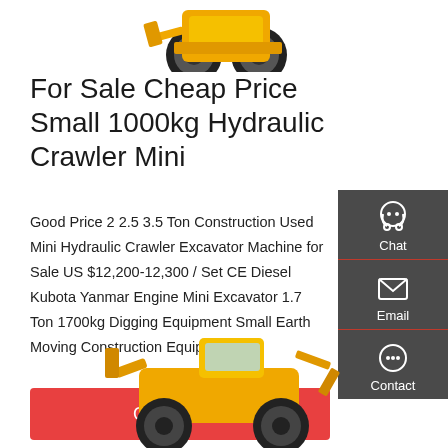[Figure (photo): Top portion of a yellow construction wheel loader machine, cropped at top of page]
For Sale Cheap Price Small 1000kg Hydraulic Crawler Mini
Good Price 2 2.5 3.5 Ton Construction Used Mini Hydraulic Crawler Excavator Machine for Sale US $12,200-12,300 / Set CE Diesel Kubota Yanmar Engine Mini Excavator 1.7 Ton 1700kg Digging Equipment Small Earth Moving Construction Equipment
[Figure (other): Red button labeled Get a quote]
[Figure (other): Dark sidebar with Chat, Email, and Contact icons]
[Figure (photo): Yellow construction backhoe loader machine, partially visible at bottom of page]